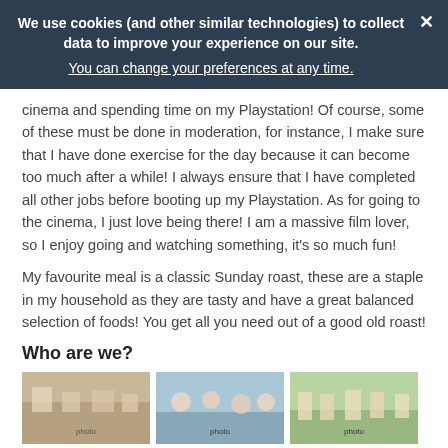We use cookies (and other similar technologies) to collect data to improve your experience on our site. You can change your preferences at any time.
cinema and spending time on my Playstation! Of course, some of these must be done in moderation, for instance, I make sure that I have done exercise for the day because it can become too much after a while! I always ensure that I have completed all other jobs before booting up my Playstation. As for going to the cinema, I just love being there! I am a massive film lover, so I enjoy going and watching something, it's so much fun!
My favourite meal is a classic Sunday roast, these are a staple in my household as they are tasty and have a great balanced selection of foods! You get all you need out of a good old roast!
Who are we?
[Figure (photo): Three photos of children in school/activity settings arranged in a row]
[Figure (photo): Children gathered outdoors]
[Figure (photo): Children in an activity setting]